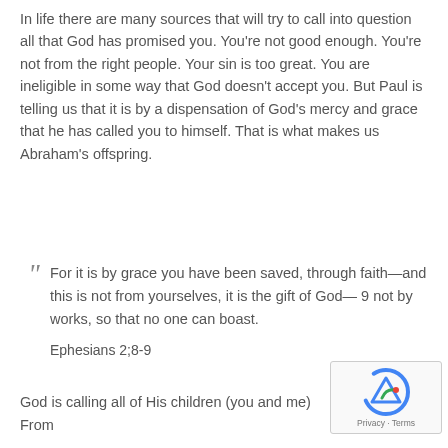In life there are many sources that will try to call into question all that God has promised you. You're not good enough. You're not from the right people. Your sin is too great. You are ineligible in some way that God doesn't accept you. But Paul is telling us that it is by a dispensation of God's mercy and grace that he has called you to himself. That is what makes us Abraham's offspring.
For it is by grace you have been saved, through faith—and this is not from yourselves, it is the gift of God— 9 not by works, so that no one can boast.
Ephesians 2;8-9
God is calling all of His children (you and me) From...